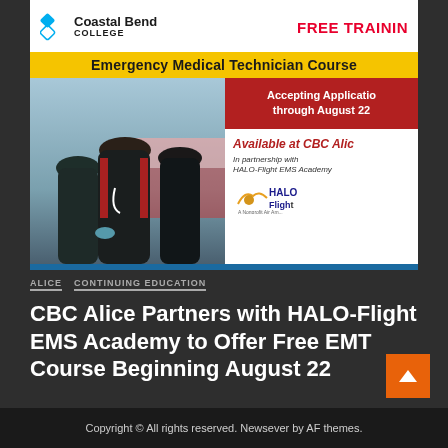[Figure (screenshot): Coastal Bend College advertisement banner for a free Emergency Medical Technician Course. Shows college logo, 'FREE TRAINING' text in red, yellow bar with 'Emergency Medical Technician Course', photo of EMT workers, red box 'Accepting Applications through August 22', white box 'Available at CBC Alice' with 'In partnership with HALO-Flight EMS Academy' and HALO Flight logo.]
ALICE   CONTINUING EDUCATION
CBC Alice Partners with HALO-Flight EMS Academy to Offer Free EMT Course Beginning August 22
Copyright © All rights reserved. Newsever by AF themes.